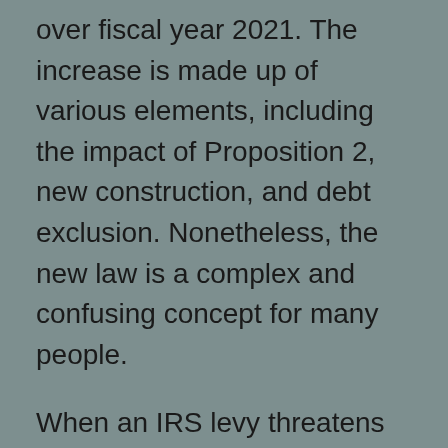over fiscal year 2021. The increase is made up of various elements, including the impact of Proposition 2, new construction, and debt exclusion. Nonetheless, the new law is a complex and confusing concept for many people.
When an IRS levy threatens your bank account, your bank must freeze your account. You have 21 days to respond and make arrangements before the levy takes effect. Once the levy has taken effect, the bank may lift the freeze in some extraordinary circumstances. It is important to address the